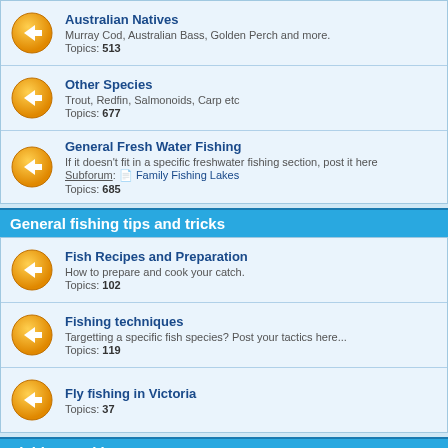Australian Natives - Murray Cod, Australian Bass, Golden Perch and more. Topics: 513
Other Species - Trout, Redfin, Salmonoids, Carp etc - Topics: 677
General Fresh Water Fishing - If it doesn't fit in a specific freshwater fishing section, post it here. Subforum: Family Fishing Lakes. Topics: 685
General fishing tips and tricks
Fish Recipes and Preparation - How to prepare and cook your catch. Topics: 102
Fishing techniques - Targetting a specific fish species? Post your tactics here... Topics: 119
Fly fishing in Victoria - Topics: 37
Fishing Tackle
Fishing Rods & Reels - Topics: 968